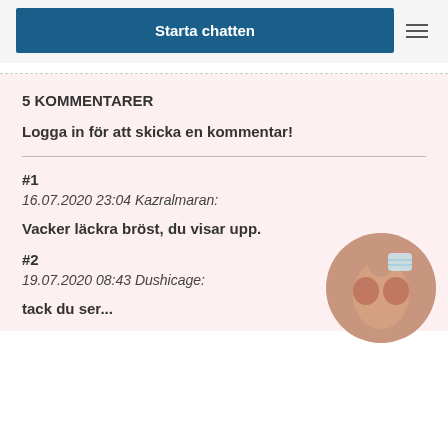Starta chatten
5 KOMMENTARER
Logga in för att skicka en kommentar!
#1
16.07.2020 23:04 Kazralmaran:
Vacker läckra bröst, du visar upp.
#2
19.07.2020 08:43 Dushicage:
tack du ser...
[Figure (photo): Circular avatar image of a person]